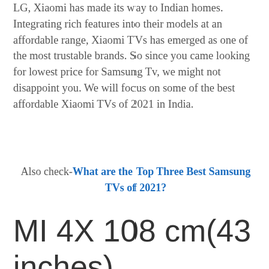LG, Xiaomi has made its way to Indian homes. Integrating rich features into their models at an affordable range, Xiaomi TVs has emerged as one of the most trustable brands. So since you came looking for lowest price for Samsung Tv, we might not disappoint you. We will focus on some of the best affordable Xiaomi TVs of 2021 in India.
Also check-What are the Top Three Best Samsung TVs of 2021?
MI 4X 108 cm(43 inches)